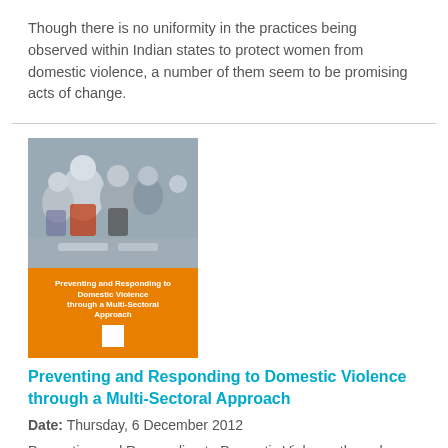Though there is no uniformity in the practices being observed within Indian states to protect women from domestic violence, a number of them seem to be promising acts of change.
[Figure (photo): Book cover for 'Preventing and Responding to Domestic Violence through a Multi-Sectoral Approach' with a photo of people at the top and an orange bottom section with white text and a QR code.]
Preventing and Responding to Domestic Violence through a Multi-Sectoral Approach
Date: Thursday, 6 December 2012
Preventing and Responding to Domestic Violence through a Multi-Sectoral Approach
Staying Alive